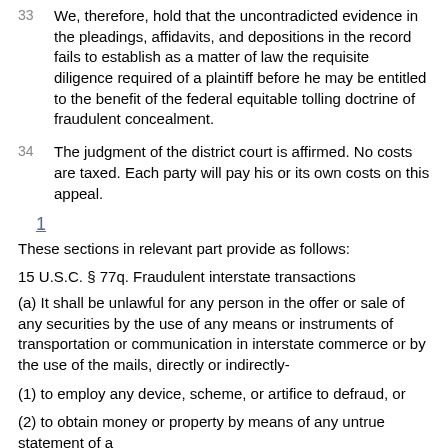33 We, therefore, hold that the uncontradicted evidence in the pleadings, affidavits, and depositions in the record fails to establish as a matter of law the requisite diligence required of a plaintiff before he may be entitled to the benefit of the federal equitable tolling doctrine of fraudulent concealment.
34 The judgment of the district court is affirmed. No costs are taxed. Each party will pay his or its own costs on this appeal.
1
These sections in relevant part provide as follows:
15 U.S.C. § 77q. Fraudulent interstate transactions
(a) It shall be unlawful for any person in the offer or sale of any securities by the use of any means or instruments of transportation or communication in interstate commerce or by the use of the mails, directly or indirectly-
(1) to employ any device, scheme, or artifice to defraud, or
(2) to obtain money or property by means of any untrue statement of a